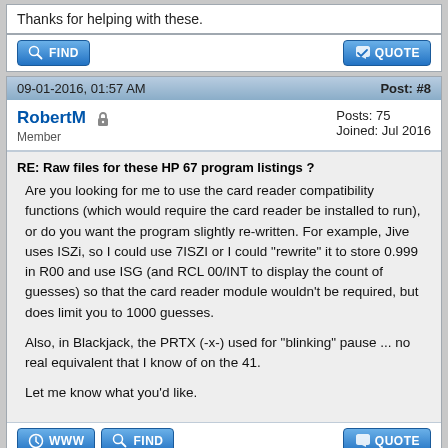Thanks for helping with these.
09-01-2016, 01:57 AM  Post: #8
RobertM  Member  Posts: 75  Joined: Jul 2016
RE: Raw files for these HP 67 program listings ?
Are you looking for me to use the card reader compatibility functions (which would require the card reader be installed to run), or do you want the program slightly re-written. For example, Jive uses ISZi, so I could use 7ISZI or I could "rewrite" it to store 0.999 in R00 and use ISG (and RCL 00/INT to display the count of guesses) so that the card reader module wouldn't be required, but does limit you to 1000 guesses.

Also, in Blackjack, the PRTX (-x-) used for "blinking" pause ... no real equivalent that I know of on the 41.

Let me know what you'd like.